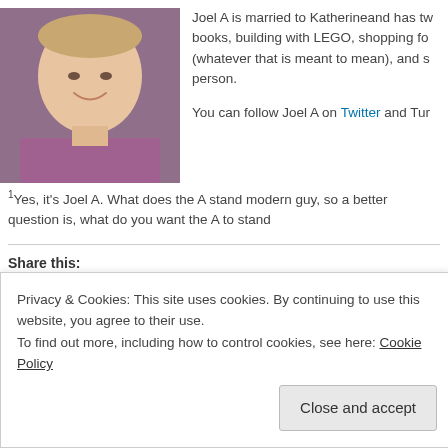[Figure (photo): Headshot of Joel A, a smiling man in a purple/lavender button-up shirt, photographed against a brick wall background.]
Joel A is married to Katherineand has tw books, building with LEGO, shopping fo (whatever that is meant to mean), and s person.
You can follow Joel A on Twitter and Tur
¹Yes, it's Joel A. What does the A stand modern guy, so a better question is, what do you want the A to stand
Share this:
Twitter
Facebook
Tumblr
Pinterest
Email
Privacy & Cookies: This site uses cookies. By continuing to use this website, you agree to their use. To find out more, including how to control cookies, see here: Cookie Policy
Close and accept